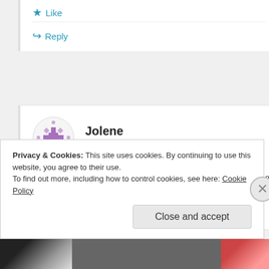★ Like
↪ Reply
Jolene
February 1, 2012 at 12:04 pm
I agree with many excedrin consumers. Excedrin is the only thing that works for my headaches. Please tell us it will be back on the shelves soon.
Privacy & Cookies: This site uses cookies. By continuing to use this website, you agree to their use.
To find out more, including how to control cookies, see here: Cookie Policy
Close and accept